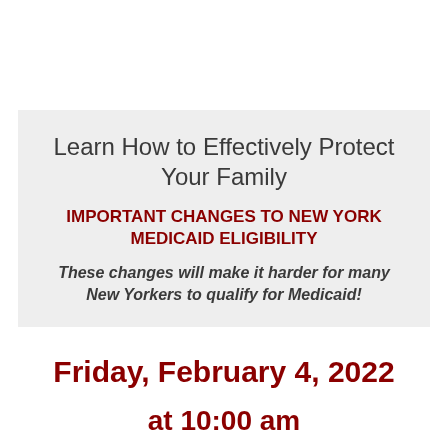Learn How to Effectively Protect Your Family
IMPORTANT CHANGES TO NEW YORK MEDICAID ELIGIBILITY
These changes will make it harder for many New Yorkers to qualify for Medicaid!
Friday, February 4, 2022
at 10:00 am